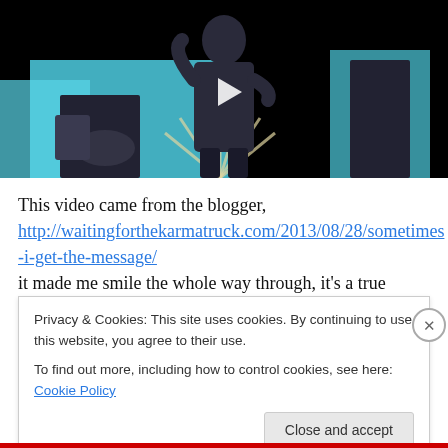[Figure (photo): Video thumbnail showing a person on a dark stage with blue background elements and a play button overlay]
This video came from the blogger,
http://waitingforthekarmatruck.com/2013/08/28/sometimes-i-get-the-message/
it made me smile the whole way through, it's a true inspiration, not too long (6:15 mn)
Privacy & Cookies: This site uses cookies. By continuing to use this website, you agree to their use.
To find out more, including how to control cookies, see here: Cookie Policy